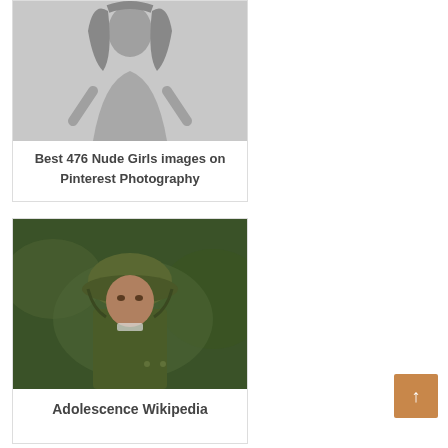[Figure (photo): Black and white photo of a young woman with long hair]
Best 476 Nude Girls images on Pinterest Photography
[Figure (photo): Color photo of a young boy wearing a military helmet and green jacket]
Adolescence Wikipedia